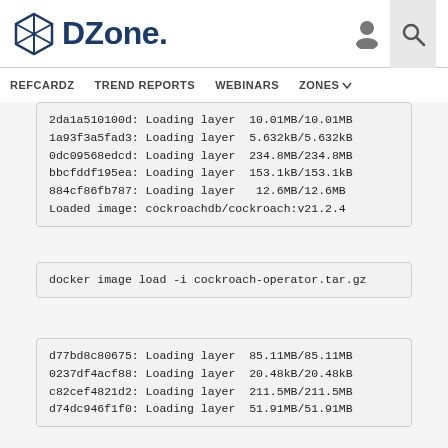DZone. REFCARDZ  TREND REPORTS  WEBINARS  ZONES
2da1a510100d: Loading layer  10.01MB/10.01MB
1a93f3a5fad3: Loading layer  5.632kB/5.632kB
0dc09568edcd: Loading layer  234.8MB/234.8MB
bbcfddf195ea: Loading layer  153.1kB/153.1kB
884cf86fb787: Loading layer  12.6MB/12.6MB
Loaded image: cockroachdb/cockroach:v21.2.4
docker image load -i cockroach-operator.tar.gz
d77bd8c80675: Loading layer  85.11MB/85.11MB
0237df4acf88: Loading layer  20.48kB/20.48kB
c82cef4821d2: Loading layer  211.5MB/211.5MB
d74dc946f1f0: Loading layer  51.91MB/51.91MB